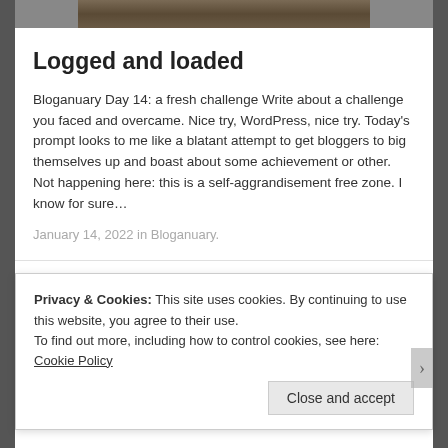[Figure (photo): Partial photo strip at the top of the page showing what appears to be logs or debris on the ground]
Logged and loaded
Bloganuary Day 14: a fresh challenge Write about a challenge you faced and overcame. Nice try, WordPress, nice try. Today's prompt looks to me like a blatant attempt to get bloggers to big themselves up and boast about some achievement or other. Not happening here: this is a self-aggrandisement free zone. I know for sure…
January 14, 2022 in Bloganuary.
Privacy & Cookies: This site uses cookies. By continuing to use this website, you agree to their use.
To find out more, including how to control cookies, see here: Cookie Policy
Close and accept